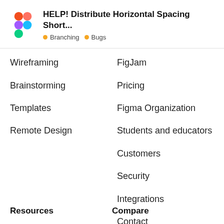HELP! Distribute Horizontal Spacing Short… • Branching • Bugs
Wireframing
Brainstorming
Templates
Remote Design
FigJam
Pricing
Figma Organization
Students and educators
Customers
Security
Integrations
Contact
Resources
Compare